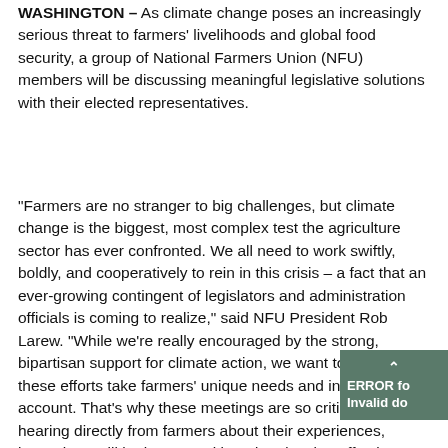WASHINGTON – As climate change poses an increasingly serious threat to farmers' livelihoods and global food security, a group of National Farmers Union (NFU) members will be discussing meaningful legislative solutions with their elected representatives.
“Farmers are no stranger to big challenges, but climate change is the biggest, most complex test the agriculture sector has ever confronted. We all need to work swiftly, boldly, and cooperatively to rein in this crisis – a fact that an ever-growing contingent of legislators and administration officials is coming to realize,” said NFU President Rob Larew. “While we’re really encouraged by the strong, bipartisan support for climate action, we want to ensure these efforts take farmers’ unique needs and interests into account. That’s why these meetings are so critical; after hearing directly from farmers about their experiences, lawmakers will be better positioned to develop effective climate policy.”